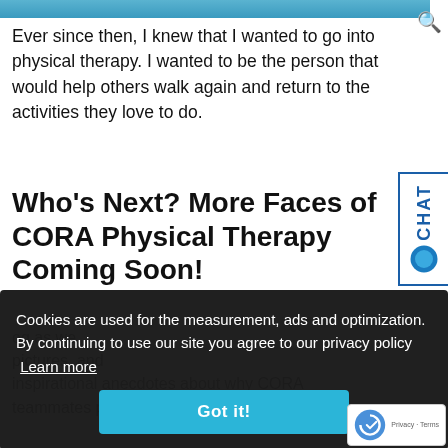Ever since then, I knew that I wanted to go into physical therapy. I wanted to be the person that would help others walk again and return to the activities they love to do.
Who's Next? More Faces of CORA Physical Therapy Coming Soon!
og as we pictures, and inspirational anecdotes about why CORA teammates pursued the PT profession.
Cookies are used for the measurement, ads and optimization. By continuing to use our site you agree to our privacy policy Learn more
Got it!